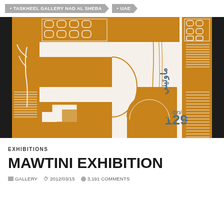• TASKHEEL GALLERY NAD AL SHEBA  • UAE
[Figure (photo): Artwork photograph showing an abstract geometric print in golden/amber and white colors with Arabic and English text reading 'Mawtini' and the number '129'. The artwork features architectural and abstract geometric shapes arranged in a grid-like composition.]
EXHIBITIONS
MAWTINI EXHIBITION
GALLERY  2012/03/15  3,191 COMMENTS